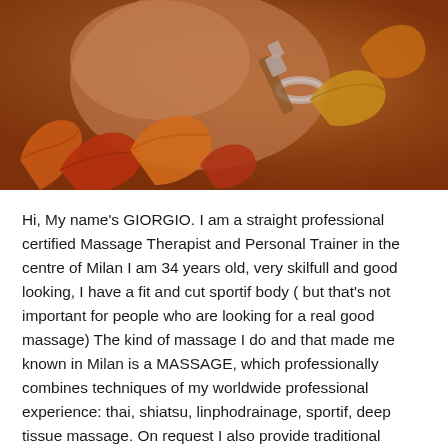[Figure (photo): Close-up photo of hands holding autumn leaves in warm orange and red tones, with a silver bracelet visible on one wrist. Colorful fall maple leaves are scattered across the warm brown background.]
Hi, My name's GIORGIO. I am a straight professional certified Massage Therapist and Personal Trainer in the centre of Milan I am 34 years old, very skilfull and good looking, I have a fit and cut sportif body ( but that's not important for people who are looking for a real good massage) The kind of massage I do and that made me known in Milan is a MASSAGE, which professionally combines techniques of my worldwide professional experience: thai, shiatsu, linphodrainage, sportif, deep tissue massage. On request I also provide traditional TANTRA massage. According to Tantric ideals, your entire body will be massaged,